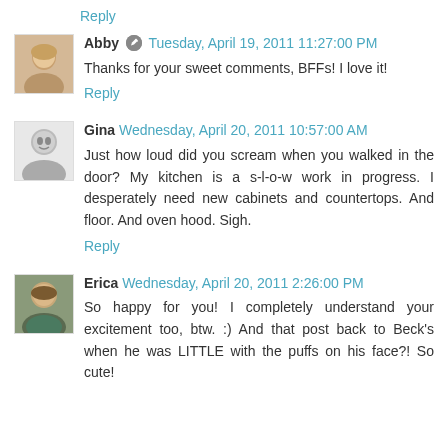Reply
Abby  Tuesday, April 19, 2011 11:27:00 PM
Thanks for your sweet comments, BFFs! I love it!
Reply
Gina  Wednesday, April 20, 2011 10:57:00 AM
Just how loud did you scream when you walked in the door? My kitchen is a s-l-o-w work in progress. I desperately need new cabinets and countertops. And floor. And oven hood. Sigh.
Reply
Erica  Wednesday, April 20, 2011 2:26:00 PM
So happy for you! I completely understand your excitement too, btw. :) And that post back to Beck's when he was LITTLE with the puffs on his face?! So cute!